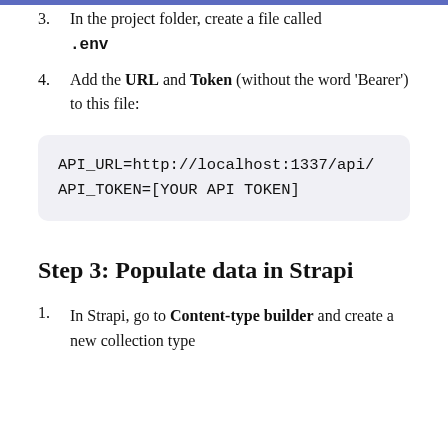3. In the project folder, create a file called .env
4. Add the URL and Token (without the word 'Bearer') to this file:
[Figure (screenshot): Code block showing: API_URL=http://localhost:1337/api/ API_TOKEN=[YOUR API TOKEN]]
Step 3: Populate data in Strapi
1. In Strapi, go to Content-type builder and create a new collection type